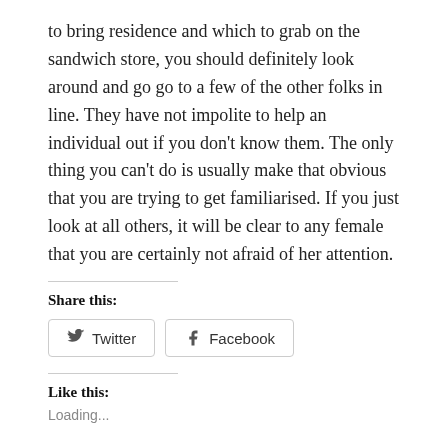to bring residence and which to grab on the sandwich store, you should definitely look around and go go to a few of the other folks in line. They have not impolite to help an individual out if you don't know them. The only thing you can't do is usually make that obvious that you are trying to get familiarised. If you just look at all others, it will be clear to any female that you are certainly not afraid of her attention.
Share this:
Twitter
Facebook
Like this:
Loading...